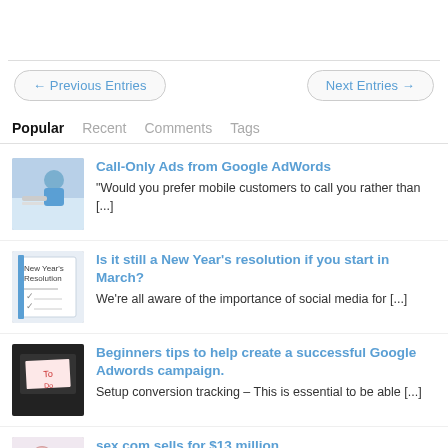← Previous Entries
Next Entries →
Popular   Recent   Comments   Tags
Call-Only Ads from Google AdWords
"Would you prefer mobile customers to call you rather than [...]
Is it still a New Year's resolution if you start in March?
We're all aware of the importance of social media for [...]
Beginners tips to help create a successful Google Adwords campaign.
Setup conversion tracking – This is essential to be able [...]
sex.com sells for $13 million
We do advocate the importance of a domain name and [...]